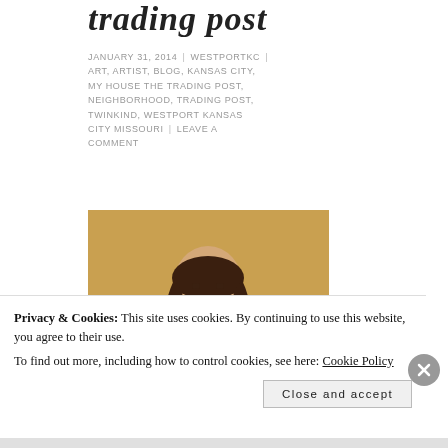trading post
JANUARY 31, 2014 | WESTPORTKC | ART, ARTIST, BLOG, KANSAS CITY, MY HOUSE THE TRADING POST, NEIGHBORHOOD, TRADING POST, TWINKIND, WESTPORT KANSAS CITY MISSOURI | LEAVE A COMMENT
[Figure (photo): A woman with long dark hair wearing a light cardigan over a dark shirt, standing with hands on hips against a golden/tan background, smiling at the camera.]
Privacy & Cookies: This site uses cookies. By continuing to use this website, you agree to their use.
To find out more, including how to control cookies, see here: Cookie Policy
Close and accept